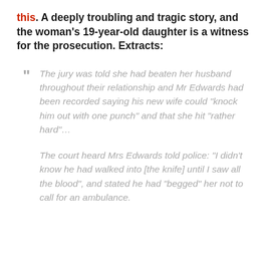this. A deeply troubling and tragic story, and the woman's 19-year-old daughter is a witness for the prosecution. Extracts:
The jury was told she had beaten her husband throughout their relationship and Mr Edwards had been recorded saying his new wife could "knock him out with one punch" and that she hit "rather hard"...
The court heard Mrs Edwards told police: "I didn't know he had walked into [the knife] until I saw all the blood", and stated he had "begged" her not to call for an ambulance.